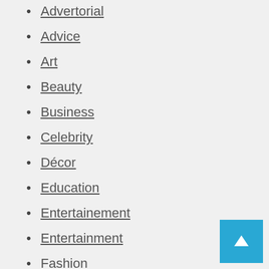Advertorial
Advice
Art
Beauty
Business
Celebrity
Décor
Education
Entertainement
Entertainment
Fashion
Finance